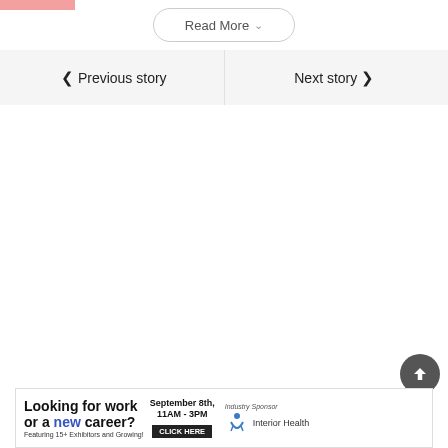[Figure (other): Pink/salmon colored image partial at top left corner]
Read More
Previous story
Next story
[Figure (other): Scroll to top circular button with upward arrow]
[Figure (other): Advertisement banner: Looking for work or a new career? Featuring 15+ Exhibitors and Growing! September 8th, 11AM - 3PM CLICK HERE. Industry Sponsor: Interior Health logo.]